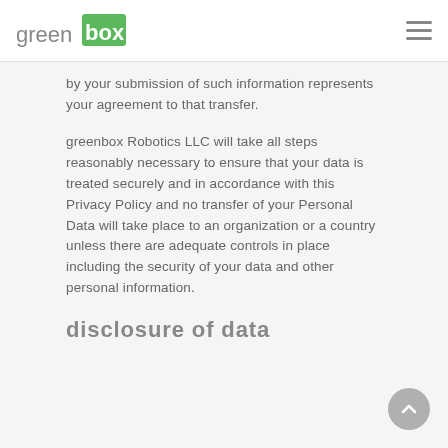greenbox [logo]
by your submission of such information represents your agreement to that transfer.
greenbox Robotics LLC will take all steps reasonably necessary to ensure that your data is treated securely and in accordance with this Privacy Policy and no transfer of your Personal Data will take place to an organization or a country unless there are adequate controls in place including the security of your data and other personal information.
disclosure of data